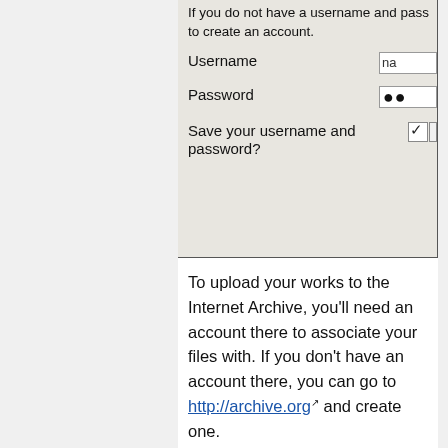If you do not have a username and password to create an account.
Username
Password
Save your username and password?
To upload your works to the Internet Archive, you'll need an account there to associate your files with. If you don't have an account there, you can go to http://archive.org and create one.